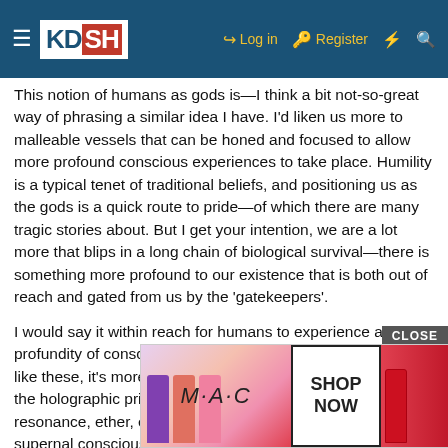KDSH — Log in | Register
This notion of humans as gods is—I think a bit not-so-great way of phrasing a similar idea I have. I'd liken us more to malleable vessels that can be honed and focused to allow more profound conscious experiences to take place. Humility is a typical tenet of traditional beliefs, and positioning us as the gods is a quick route to pride—of which there are many tragic stories about. But I get your intention, we are a lot more that blips in a long chain of biological survival—there is something more profound to our existence that is both out of reach and gated from us by the 'gatekeepers'.
I would say it within reach for humans to experience a profundity of consciousness that pervades time. In scenarios like these, it's more possible to contextualize the ideas about the holographic principle of mind (also called morphic resonance, ether, etc. etc. many words for same concept of supernal consciousness). It's from these experiences that truths are extracted and then formatted
[Figure (photo): M·A·C cosmetics advertisement showing lipsticks in purple, peach, and pink colors with a 'SHOP NOW' button and a red lipstick on the right side. Overlaid with a 'CLOSE' button.]